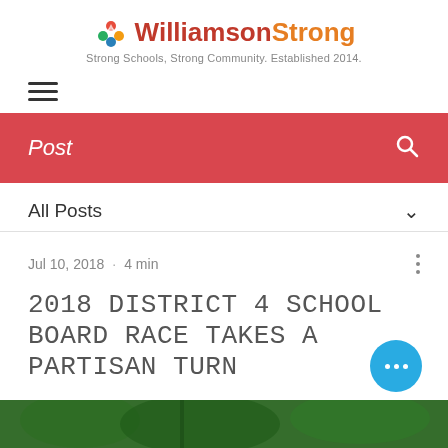WilliamsonStrong — Strong Schools, Strong Community. Established 2014.
Post
All Posts
Jul 10, 2018 · 4 min
2018 District 4 School Board Race Takes a Partisan Turn
[Figure (photo): Aerial or elevated outdoor photo showing green trees and landscape]